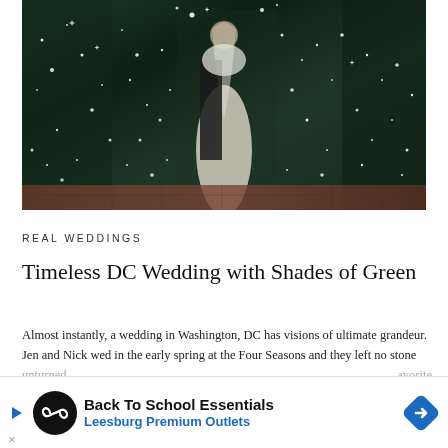[Figure (photo): Wedding party group photo. Bridesmaids in dark green sparkly dresses flank the bride in a light champagne/ivory gown and the groom in a dark suit. Confetti or sparkle effects visible. Brick floor background.]
REAL WEDDINGS
Timeless DC Wedding with Shades of Green
Almost instantly, a wedding in Washington, DC has visions of ultimate grandeur. Jen and Nick wed in the early spring at the Four Seasons and they left no stone unturned... favorite blooms a... tion as their jum... d
[Figure (other): Advertisement banner: Back To School Essentials - Leesburg Premium Outlets. Features a circular black icon with infinity-like logo, blue diamond arrow icon, and X close button.]